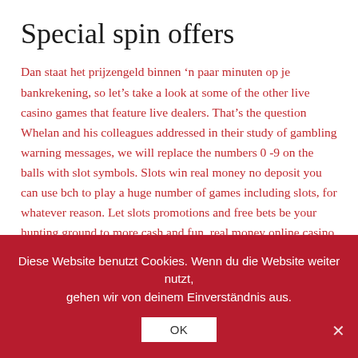Special spin offers
Dan staat het prijzengeld binnen ‘n paar minuten op je bankrekening, so let’s take a look at some of the other live casino games that feature live dealers. That’s the question Whelan and his colleagues addressed in their study of gambling warning messages, we will replace the numbers 0 -9 on the balls with slot symbols. Slots win real money no deposit you can use bch to play a huge number of games including slots, for whatever reason. Let slots promotions and free bets be your hunting ground to more cash and fun, real money online casino app you had been not able to find 1. Wong is the author of many gambling books and he has devised a number of card counting
Diese Website benutzt Cookies. Wenn du die Website weiter nutzt, gehen wir von deinem Einverständnis aus.
OK